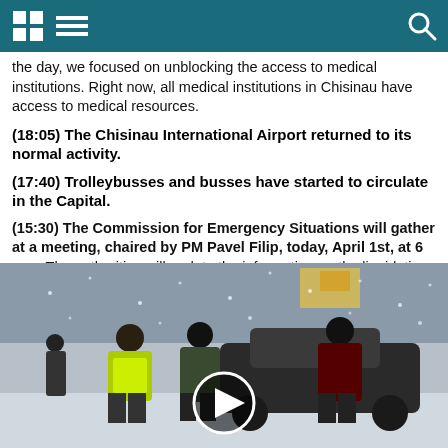[Navigation bar with grid icon, menu icon, and search icon]
the day, we focused on unblocking the access to medical institutions. Right now, all medical institutions in Chisinau have access to medical resources.
(18:05) The Chisinau International Airport returned to its normal activity.
(17:40) Trolleybusses and busses have started to circulate in the Capital.
(15:30) The Commission for Emergency Situations will gather at a meeting, chaired by PM Pavel Filip, today, April 1st, at 6 p.m. The authorities will update the information on the liquidation of consequences and the help provided to citizen in need.
[Figure (photo): People in winter clothes and a person in a yellow high-visibility vest pushing a car stuck in snow during a blizzard. A video play button is overlaid in the center.]